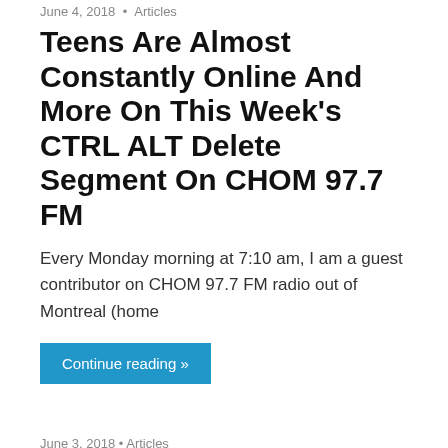June 4, 2018  •  Articles
Teens Are Almost Constantly Online And More On This Week's CTRL ALT Delete Segment On CHOM 97.7 FM
Every Monday morning at 7:10 am, I am a guest contributor on CHOM 97.7 FM radio out of Montreal (home
Continue reading »
June 3, 2018  •  Articles
Discovering Truth With Hector Macdonald – This Week's Six